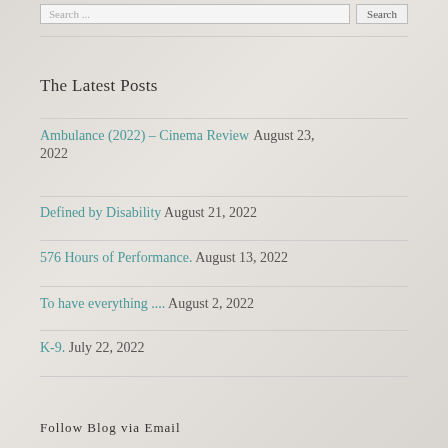Search ...  Search
The Latest Posts
Ambulance (2022) – Cinema Review August 23, 2022
Defined by Disability August 21, 2022
576 Hours of Performance. August 13, 2022
To have everything .... August 2, 2022
K-9. July 22, 2022
Follow Blog via Email